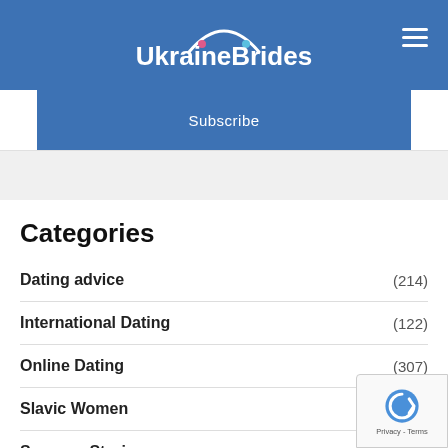Ukraine Brides
Subscribe
Categories
Dating advice (214)
International Dating (122)
Online Dating (307)
Slavic Women (191)
Success Stories (42)
Testimonials (64)